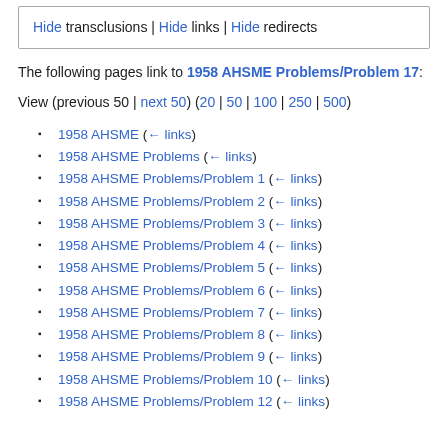Hide transclusions | Hide links | Hide redirects
The following pages link to 1958 AHSME Problems/Problem 17:
View (previous 50 | next 50) (20 | 50 | 100 | 250 | 500)
1958 AHSME  (← links)
1958 AHSME Problems  (← links)
1958 AHSME Problems/Problem 1  (← links)
1958 AHSME Problems/Problem 2  (← links)
1958 AHSME Problems/Problem 3  (← links)
1958 AHSME Problems/Problem 4  (← links)
1958 AHSME Problems/Problem 5  (← links)
1958 AHSME Problems/Problem 6  (← links)
1958 AHSME Problems/Problem 7  (← links)
1958 AHSME Problems/Problem 8  (← links)
1958 AHSME Problems/Problem 9  (← links)
1958 AHSME Problems/Problem 10  (← links)
1958 AHSME Problems/Problem 12  (← links)